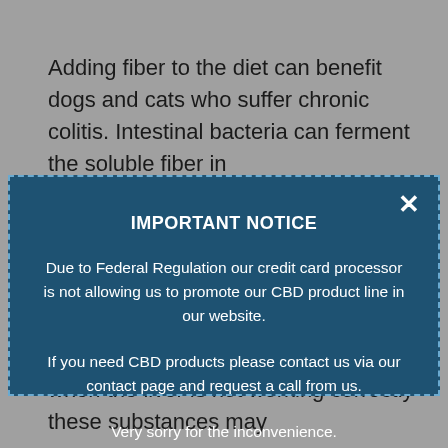Adding fiber to the diet can benefit dogs and cats who suffer chronic colitis. Intestinal bacteria can ferment the soluble fiber in
IMPORTANT NOTICE
Due to Federal Regulation our credit card processor is not allowing us to promote our CBD product line in our website.
If you need CBD products please contact us via our contact page and request a call from us.
Very sorry for the inconvenience.
dysfunction). The liver is in charge of metabolizing toxic substances in the body to make them harmless; however, when the liver is not working correctly these substances may